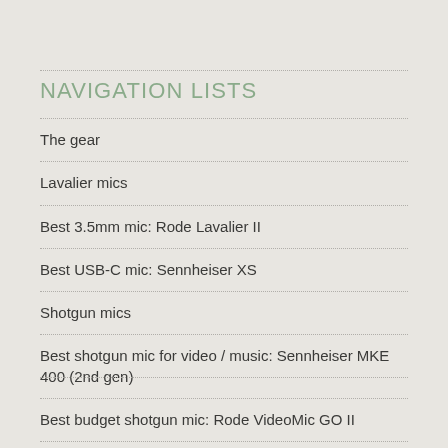NAVIGATION LISTS
The gear
Lavalier mics
Best 3.5mm mic: Rode Lavalier II
Best USB-C mic: Sennheiser XS
Shotgun mics
Best shotgun mic for video / music: Sennheiser MKE 400 (2nd gen)
Best budget shotgun mic: Rode VideoMic GO II
Best shotgun mic for portability: Shure MV88+
Desktop and USB mics go mobile